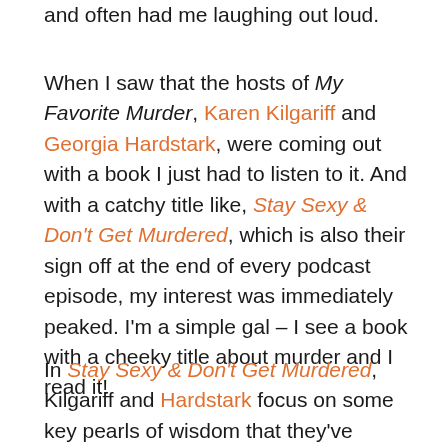and often had me laughing out loud.
When I saw that the hosts of My Favorite Murder, Karen Kilgariff and Georgia Hardstark, were coming out with a book I just had to listen to it. And with a catchy title like, Stay Sexy & Don't Get Murdered, which is also their sign off at the end of every podcast episode, my interest was immediately peaked. I'm a simple gal – I see a book with a cheeky title about murder and I read it!
In Stay Sexy & Don't Get Murdered, Kilgariff and Hardstark focus on some key pearls of wisdom that they've shared over the years